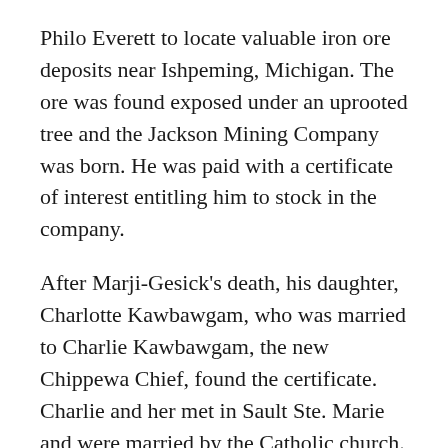Philo Everett to locate valuable iron ore deposits near Ishpeming, Michigan. The ore was found exposed under an uprooted tree and the Jackson Mining Company was born. He was paid with a certificate of interest entitling him to stock in the company.
After Marji-Gesick's death, his daughter, Charlotte Kawbawgam, who was married to Charlie Kawbawgam, the new Chippewa Chief, found the certificate. Charlie and her met in Sault Ste. Marie and were married by the Catholic church. When the Jackson Iron Company refused to recognize her ownership interest, she took the company to court.
The Michigan Supreme Court considered the company's claim that Charlotte Kawbawgam should not be